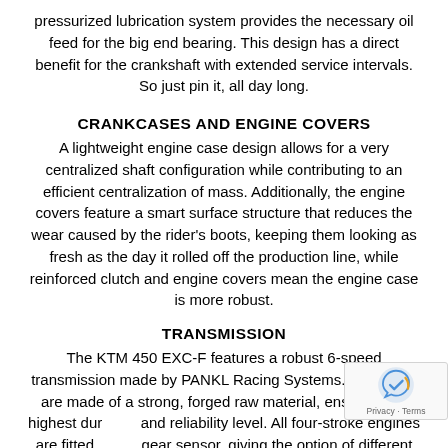pressurized lubrication system provides the necessary oil feed for the big end bearing. This design has a direct benefit for the crankshaft with extended service intervals. So just pin it, all day long.
CRANKCASES AND ENGINE COVERS
A lightweight engine case design allows for a very centralized shaft configuration while contributing to an efficient centralization of mass. Additionally, the engine covers feature a smart surface structure that reduces the wear caused by the rider's boots, keeping them looking as fresh as the day it rolled off the production line, while reinforced clutch and engine covers mean the engine case is more robust.
TRANSMISSION
The KTM 450 EXC-F features a robust 6-speed transmission made by PANKL Racing Systems. The gears are made of a strong, forged raw material, ensuring the highest durability and reliability level. All four-stroke engines are fitted with a gear sensor, giving the option of different engine characteristics for each gear.